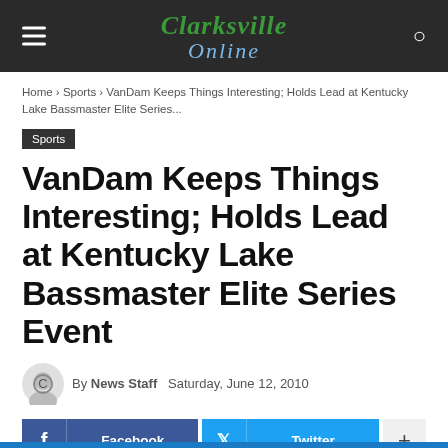Clarksville Online
Home › Sports › VanDam Keeps Things Interesting; Holds Lead at Kentucky Lake Bassmaster Elite Series...
Sports
VanDam Keeps Things Interesting; Holds Lead at Kentucky Lake Bassmaster Elite Series Event
By News Staff   Saturday, June 12, 2010